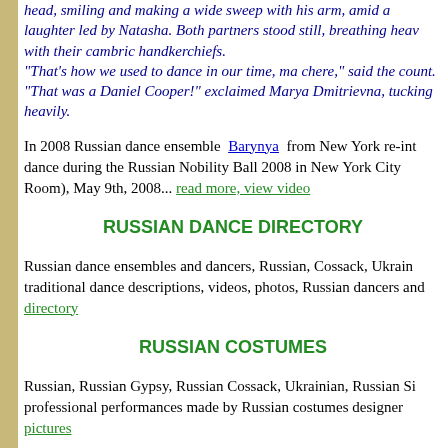head, smiling and making a wide sweep with his arm, amid a laughter led by Natasha. Both partners stood still, breathing heavily, with their cambric handkerchiefs. "That's how we used to dance in our time, ma chere," said the count. "That was a Daniel Cooper!" exclaimed Marya Dmitrievna, tucking up heavily.
In 2008 Russian dance ensemble Barynya from New York re-introduced this dance during the Russian Nobility Ball 2008 in New York City (Room), May 9th, 2008... read more, view video
RUSSIAN DANCE DIRECTORY
Russian dance ensembles and dancers, Russian, Cossack, Ukrainian traditional dance descriptions, videos, photos, Russian dancers and directory
RUSSIAN COSTUMES
Russian, Russian Gypsy, Russian Cossack, Ukrainian, Russian Siberian professional performances made by Russian costumes designer pictures
RUSSIAN DANCE AND MUSIC VIDEO FO